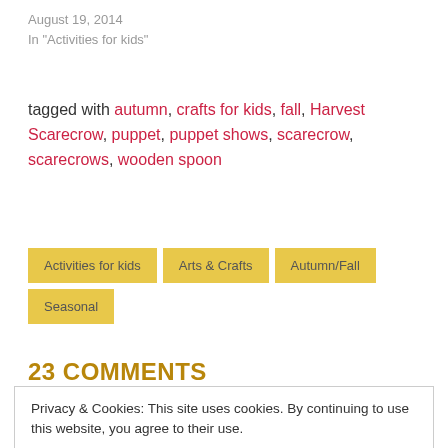August 19, 2014
In "Activities for kids"
tagged with autumn, crafts for kids, fall, Harvest Scarecrow, puppet, puppet shows, scarecrow, scarecrows, wooden spoon
Activities for kids | Arts & Crafts | Autumn/Fall | Seasonal
23 COMMENTS
Privacy & Cookies: This site uses cookies. By continuing to use this website, you agree to their use.
To find out more, including how to control cookies, see here: Cookie Policy
Close and accept